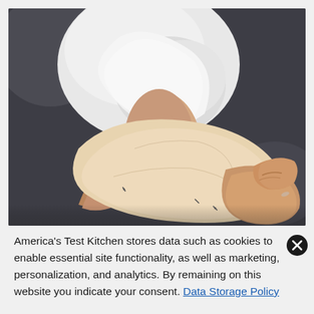[Figure (photo): Close-up photo of a person in a white lab coat or chef coat using their hands to work with a piece of dough or thin pastry/skin-like material. One hand pinches from above while the other holds the material from below. The background is dark gray.]
America's Test Kitchen stores data such as cookies to enable essential site functionality, as well as marketing, personalization, and analytics. By remaining on this website you indicate your consent. Data Storage Policy